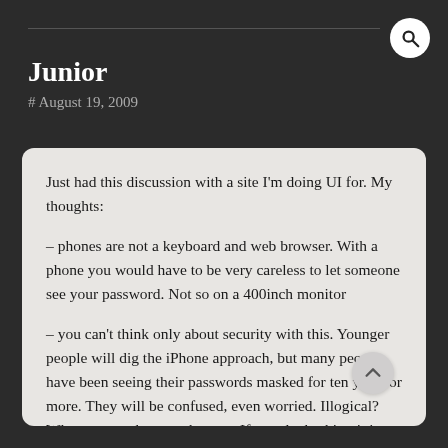Junior
# August 19, 2009
Just had this discussion with a site I'm doing UI for. My thoughts:

– phones are not a keyboard and web browser. With a phone you would have to be very careless to let someone see your password. Not so on a 400inch monitor

– you can't think only about security with this. Younger people will dig the iPhone approach, but many people have been seeing their passwords masked for ten years or more. They will be confused, even worried. Illogical? Who cares... they are the user. If you doubt this, sit in on some user testing some time.